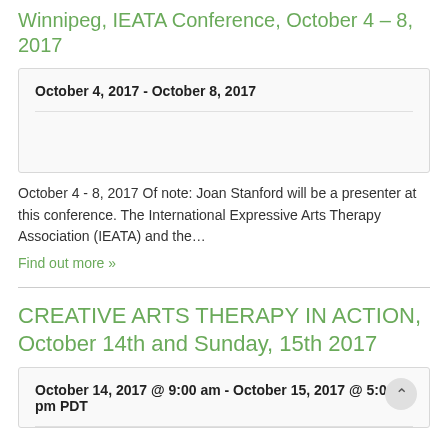Winnipeg, IEATA Conference, October 4 – 8, 2017
October 4, 2017 - October 8, 2017
October 4 - 8, 2017 Of note: Joan Stanford will be a presenter at this conference. The International Expressive Arts Therapy Association (IEATA) and the…
Find out more »
CREATIVE ARTS THERAPY IN ACTION, October 14th and Sunday, 15th 2017
October 14, 2017 @ 9:00 am - October 15, 2017 @ 5:00 pm PDT